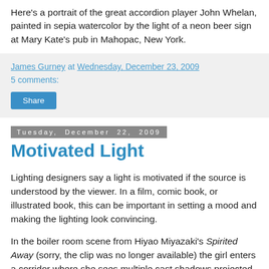Here's a portrait of the great accordion player John Whelan, painted in sepia watercolor by the light of a neon beer sign at Mary Kate's pub in Mahopac, New York.
James Gurney at Wednesday, December 23, 2009
5 comments:
Share
Tuesday, December 22, 2009
Motivated Light
Lighting designers say a light is motivated if the source is understood by the viewer. In a film, comic book, or illustrated book, this can be important in setting a mood and making the lighting look convincing.
In the boiler room scene from Hiyao Miyazaki's Spirited Away (sorry, the clip was no longer available) the girl enters a corridor where she sees multiple cast shadows projected on a wall. The shadows flicker on and off for no apparent